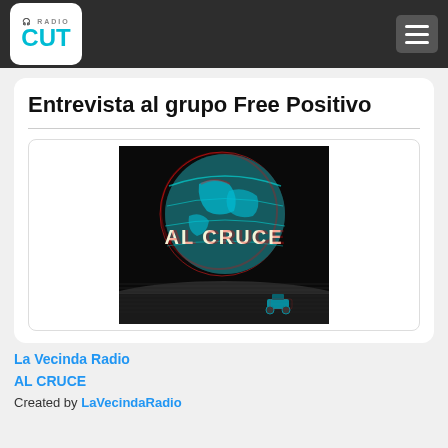Radio Cut
Entrevista al grupo Free Positivo
[Figure (photo): Album art for 'AL CRUCE' — a 3D anaglyph-style image of a globe over a lunar landscape with text 'AL CRUCE' overlaid]
La Vecinda Radio
AL CRUCE
Created by LaVecindaRadio